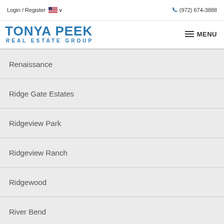Login / Register  🇺🇸 ∨       ☎ (972) 674-3888
[Figure (logo): Tonya Peek Real Estate Group logo with blue text and hamburger menu button]
Renaissance
Ridge Gate Estates
Ridgeview Park
Ridgeview Ranch
Ridgewood
River Bend
Royal Oaks
...ine Park Estates
Santa Fe Estates (partial)